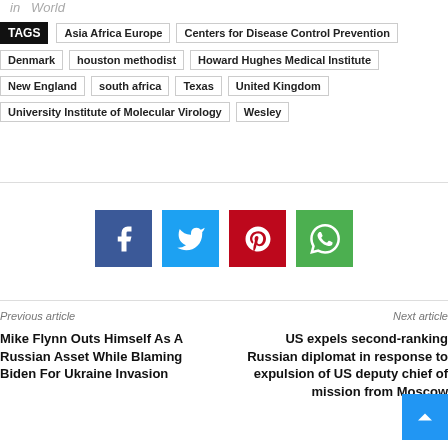in  World
TAGS  Asia Africa Europe  Centers for Disease Control Prevention  Denmark  houston methodist  Howard Hughes Medical Institute  New England  south africa  Texas  United Kingdom  University Institute of Molecular Virology  Wesley
[Figure (infographic): Social share buttons: Facebook (blue), Twitter (light blue), Pinterest (red), WhatsApp (green)]
Previous article
Mike Flynn Outs Himself As A Russian Asset While Blaming Biden For Ukraine Invasion
Next article
US expels second-ranking Russian diplomat in response to expulsion of US deputy chief of mission from Moscow